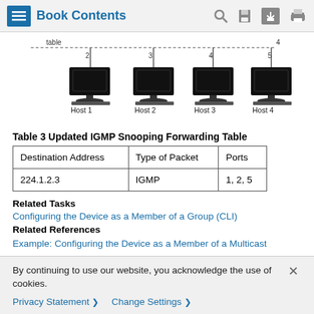Book Contents
[Figure (network-graph): Network diagram showing a switch/router at the top connected via dashed line labeled 'table' and numbered ports 2, 3, 4, 5 to four desktop computers labeled Host 1, Host 2, Host 3, Host 4.]
Table 3 Updated IGMP Snooping Forwarding Table
| Destination Address | Type of Packet | Ports |
| --- | --- | --- |
| 224.1.2.3 | IGMP | 1, 2, 5 |
Related Tasks
Configuring the Device as a Member of a Group (CLI)
Related References
Example: Configuring the Device as a Member of a Multicast
By continuing to use our website, you acknowledge the use of cookies.
Privacy Statement > Change Settings >